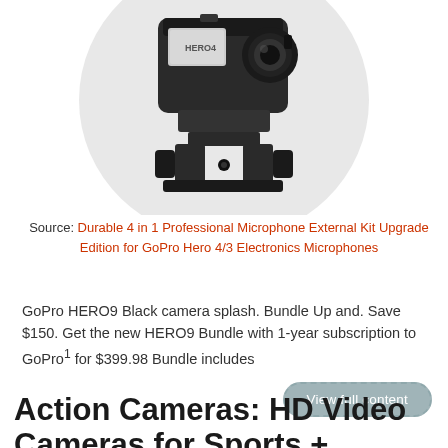[Figure (photo): GoPro HERO4 action camera in a mounting frame/case, displayed in a circular light gray background. The camera is black with a small screen and lens visible.]
Source: Durable 4 in 1 Professional Microphone External Kit Upgrade Edition for GoPro Hero 4/3 Electronics Microphones
GoPro HERO9 Black camera splash. Bundle Up and. Save $150. Get the new HERO9 Bundle with 1-year subscription to GoPro¹ for $399.98 Bundle includes
View full content
Action Cameras: HD Video Cameras for Sports + Adventure | Go